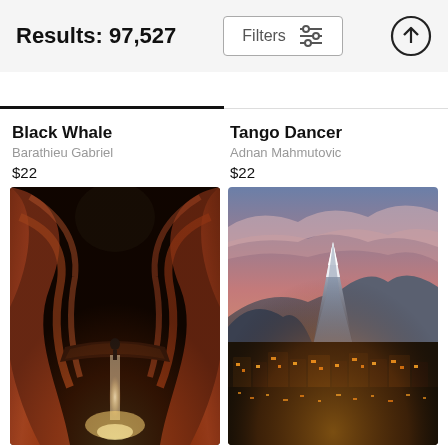Results: 97,527
Filters
Black Whale
Barathieu Gabriel
$22
Tango Dancer
Adnan Mahmutovic
$22
[Figure (photo): Slot canyon with flowing orange and brown sandstone walls, light beam illuminating sand cascade below]
[Figure (photo): Matterhorn mountain peak at sunset with dramatic pink clouds, illuminated village of Zermatt below]